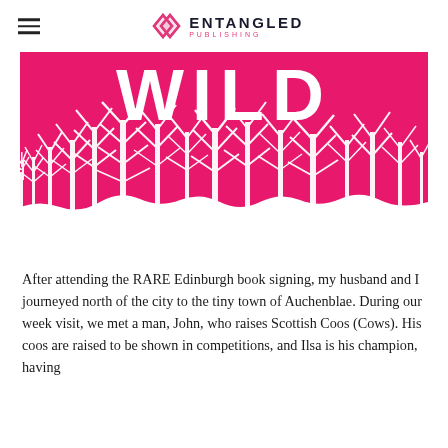ENTANGLED PUBLISHING
[Figure (illustration): Book cover section showing the word WILD in large white letters on a hot pink/magenta background, with silhouettes of bare white trees at the bottom against the pink background.]
After attending the RARE Edinburgh book signing, my husband and I journeyed north of the city to the tiny town of Auchenblae. During our week visit, we met a man, John, who raises Scottish Coos (Cows). His coos are raised to be shown in competitions, and Ilsa is his champion, having